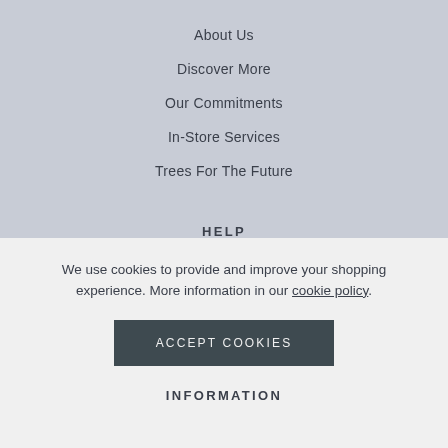About Us
Discover More
Our Commitments
In-Store Services
Trees For The Future
HELP
Help & Contact
Delivery & Returns
We use cookies to provide and improve your shopping experience. More information in our cookie policy.
ACCEPT COOKIES
INFORMATION